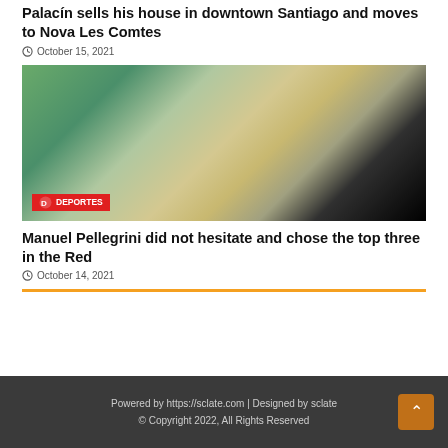Palacín sells his house in downtown Santiago and moves to Nova Les Comtes
October 15, 2021
[Figure (photo): A man in a light-colored shirt gesturing on a sports sideline, with players in green and white in the foreground and a crowd in the background. A red DEPORTES badge is visible in the bottom left corner.]
Manuel Pellegrini did not hesitate and chose the top three in the Red
October 14, 2021
Powered by https://sclate.com | Designed by sclate © Copyright 2022, All Rights Reserved